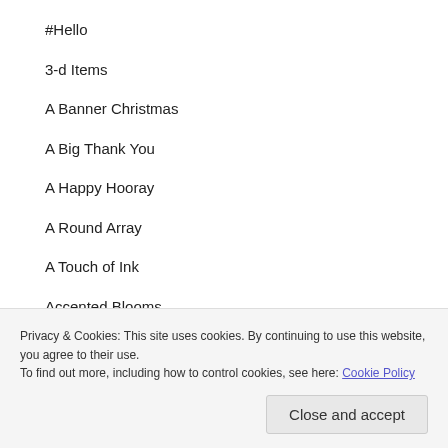#Hello
3-d Items
A Banner Christmas
A Big Thank You
A Happy Hooray
A Round Array
A Touch of Ink
Accented Blooms
Affection Collection
Alhambra
Privacy & Cookies: This site uses cookies. By continuing to use this website, you agree to their use.
To find out more, including how to control cookies, see here: Cookie Policy
Close and accept